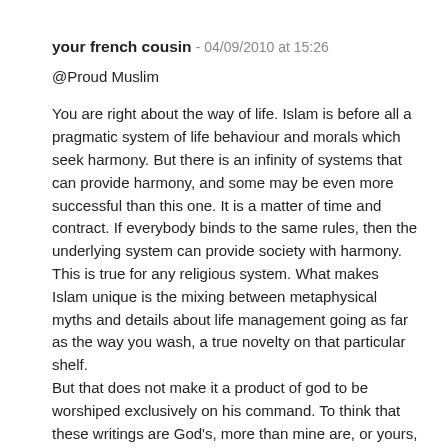your french cousin - 04/09/2010 at 15:26
@Proud Muslim
You are right about the way of life. Islam is before all a pragmatic system of life behaviour and morals which seek harmony. But there is an infinity of systems that can provide harmony, and some may be even more successful than this one. It is a matter of time and contract. If everybody binds to the same rules, then the underlying system can provide society with harmony. This is true for any religious system. What makes Islam unique is the mixing between metaphysical myths and details about life management going as far as the way you wash, a true novelty on that particular shelf.
But that does not make it a product of god to be worshiped exclusively on his command. To think that these writings are God's, more than mine are, or yours, is not a strict religious but a comfortable assumption...